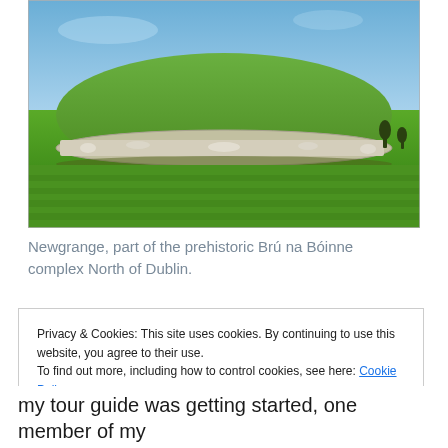[Figure (photo): Photograph of Newgrange, a prehistoric passage tomb mound in Ireland. A large grassy mound with a white quartz stone retaining wall sits under a clear blue sky, surrounded by a flat green field.]
Newgrange, part of the prehistoric Brú na Bóinne complex North of Dublin.
Privacy & Cookies: This site uses cookies. By continuing to use this website, you agree to their use. To find out more, including how to control cookies, see here: Cookie Policy
my tour guide was getting started, one member of my